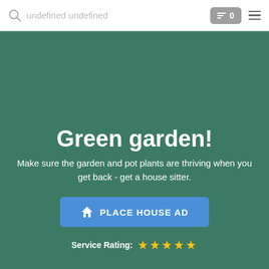undefined undefined  0
Green garden!
Make sure the garden and pot plants are thriving when you get back - get a house sitter.
PLACE HOUSE AD
Service Rating: ★★★★★